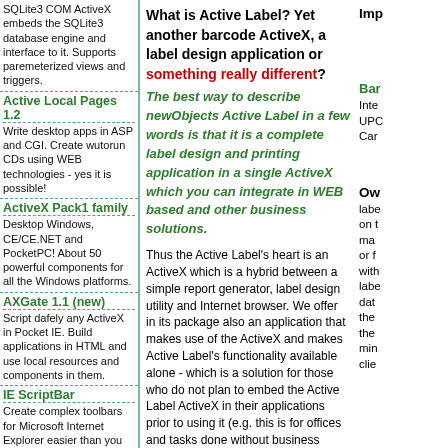SQLite3 COM ActiveX embeds the SQLite3 database engine and interface to it. Supports paremeterized views and triggers.
Active Local Pages 1.2 - Write desktop apps in ASP and CGI. Create wutorun CDs using WEB technologies - yes it is possible!
ActiveX Pack1 family - Desktop Windows, CE/CE.NET and PocketPC! About 50 powerful components for all the Windows platforms.
AXGate 1.1 (new) - Script dafely any ActiveX in Pocket IE. Build applications in HTML and use local resources and components in them.
IE ScriptBar - Create complex toolbars for Microsoft Internet Explorer easier than you may have expected.
| Code | Description |
| --- | --- |
| (M) | Single machine license |
| (U) | Unlimited per-company license |
| (D) | Unlimited |
What is Active Label? Yet another barcode ActiveX, a label design application or something really different?
The best way to describe newObjects Active Label in a few words is that it is a complete label design and printing application in a single ActiveX which you can integrate in WEB based and other business solutions.
Thus the Active Label's heart is an ActiveX which is a hybrid between a simple report generator, label design utility and Internet browser. We offer in its package also an application that makes use of the ActiveX and makes Active Label's functionality available alone - which is a solution for those who do not plan to embed the Active Label ActiveX in their applications prior to using it (e.g. this is for offices and tasks done without business software). However this is just a collateral low cost solution where the main purpose of the Active Label ActiveX is to give the WEB
Imp
Bar
Inte UPC Car
Ow label on t ma or f with labe dat the the min clie